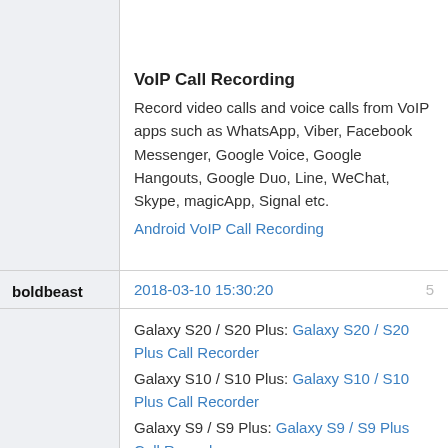VoIP Call Recording
Record video calls and voice calls from VoIP apps such as WhatsApp, Viber, Facebook Messenger, Google Voice, Google Hangouts, Google Duo, Line, WeChat, Skype, magicApp, Signal etc.
Android VoIP Call Recording
boldbeast
2018-03-10 15:30:20
5
Galaxy S20 / S20 Plus: Galaxy S20 / S20 Plus Call Recorder
Galaxy S10 / S10 Plus: Galaxy S10 / S10 Plus Call Recorder
Galaxy S9 / S9 Plus: Galaxy S9 / S9 Plus Call Recorder
Galaxy S8 / S8 Plus: Galaxy S8 / S8 Plus Call Recorder
Galaxy S7 / S7 Edge: Galaxy S7 / S7 Edge Call